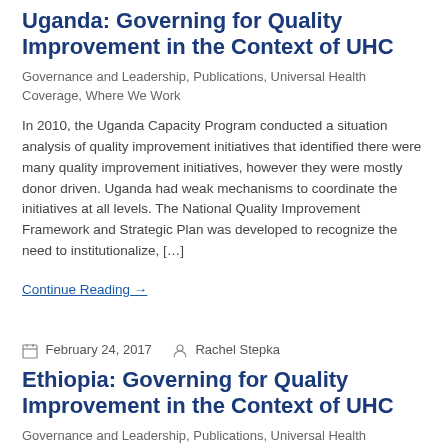Uganda: Governing for Quality Improvement in the Context of UHC
Governance and Leadership, Publications, Universal Health Coverage, Where We Work
In 2010, the Uganda Capacity Program conducted a situation analysis of quality improvement initiatives that identified there were many quality improvement initiatives, however they were mostly donor driven. Uganda had weak mechanisms to coordinate the initiatives at all levels. The National Quality Improvement Framework and Strategic Plan was developed to recognize the need to institutionalize, […]
Continue Reading →
February 24, 2017   Rachel Stepka
Ethiopia: Governing for Quality Improvement in the Context of UHC
Governance and Leadership, Publications, Universal Health Coverage, Where We Work
The government of Ethiopia launched the Health Sector Development